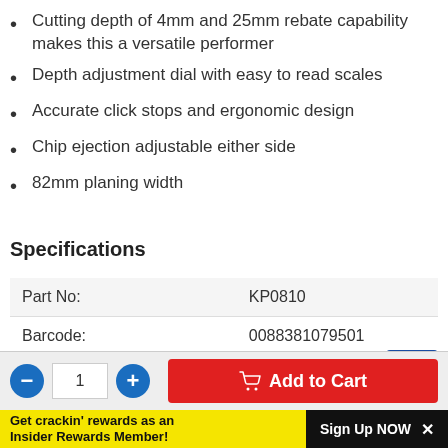Cutting depth of 4mm and 25mm rebate capability makes this a versatile performer
Depth adjustment dial with easy to read scales
Accurate click stops and ergonomic design
Chip ejection adjustable either side
82mm planing width
Specifications
| Part No: | KP0810 |
| Barcode: | 0088381079501 |
| Corded / Cordless: | Corded |
1
Add to Cart
Get crackin' rewards as an Insider Rewards Member!
Sign Up NOW ×